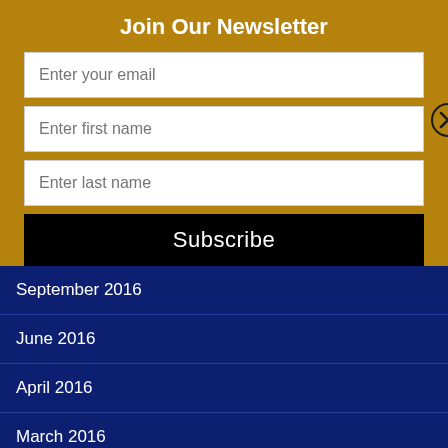Join Our Newsletter
[Figure (screenshot): Newsletter signup form with fields for email, first name, last name, and a Subscribe button. A close (X) button is visible on the right side.]
September 2016
June 2016
April 2016
March 2016
February 2016
CATEGORIES